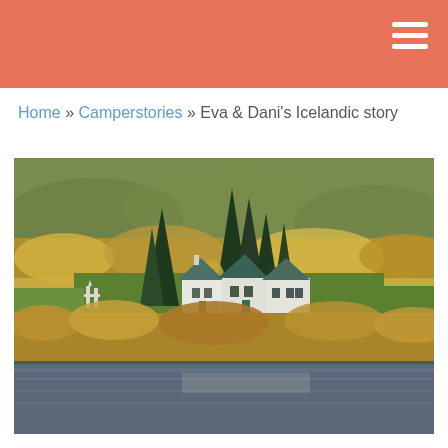Home » Camperstories » Eva & Dani's Icelandic story
[Figure (photo): Icelandic landscape with white farmhouses featuring dark gabled roofs surrounded by tall evergreen trees, autumn foliage in yellow-green tones on rolling hills, a small white church/gate structure to the left, and a calm river or lake in the foreground reflecting the scene.]